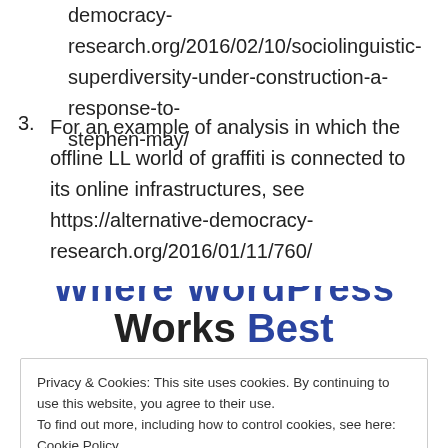democracy-research.org/2016/02/10/sociolinguistic-superdiversity-under-construction-a-response-to-stephen-may/
3. For an example of analysis in which the offline LL world of graffiti is connected to its online infrastructures, see https://alternative-democracy-research.org/2016/01/11/760/
Where WordPress Works Best
Privacy & Cookies: This site uses cookies. By continuing to use this website, you agree to their use.
To find out more, including how to control cookies, see here: Cookie Policy